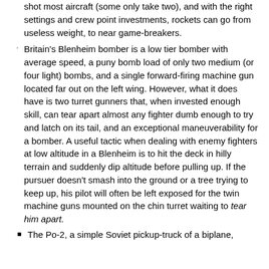shot most aircraft (some only take two), and with the right settings and crew point investments, rockets can go from useless weight, to near game-breakers.
Britain's Blenheim bomber is a low tier bomber with average speed, a puny bomb load of only two medium (or four light) bombs, and a single forward-firing machine gun located far out on the left wing. However, what it does have is two turret gunners that, when invested enough skill, can tear apart almost any fighter dumb enough to try and latch on its tail, and an exceptional maneuverability for a bomber. A useful tactic when dealing with enemy fighters at low altitude in a Blenheim is to hit the deck in hilly terrain and suddenly dip altitude before pulling up. If the pursuer doesn't smash into the ground or a tree trying to keep up, his pilot will often be left exposed for the twin machine guns mounted on the chin turret waiting to tear him apart.
The Po-2, a simple Soviet pickup-truck of a biplane,